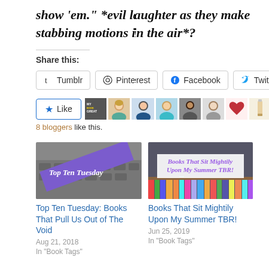show 'em." *evil laughter as they make stabbing motions in the air*?
Share this:
Tumblr  Pinterest  Facebook  Twitter
Like  8 bloggers like this.
[Figure (photo): Thumbnail image for Top Ten Tuesday blog post showing keyboard with purple diagonal banner text]
Top Ten Tuesday: Books That Pull Us Out of The Void
Aug 21, 2018
In "Book Tags"
[Figure (photo): Thumbnail image for Books That Sit Mightily Upon My Summer TBR blog post showing bookshelf]
Books That Sit Mightily Upon My Summer TBR!
Jun 25, 2019
In "Book Tags"